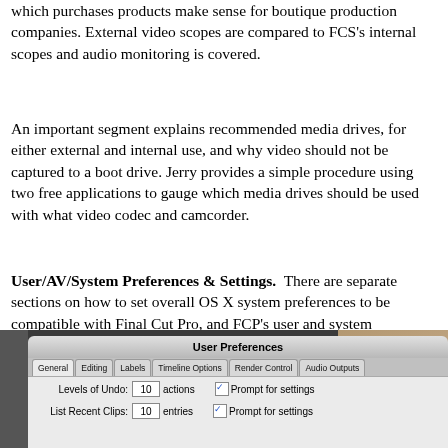which purchases products make sense for boutique production companies. External video scopes are compared to FCS's internal scopes and audio monitoring is covered.
An important segment explains recommended media drives, for either external and internal use, and why video should not be captured to a boot drive. Jerry provides a simple procedure using two free applications to gauge which media drives should be used with what video codec and camcorder.
User/AV/System Preferences & Settings. There are separate sections on how to set overall OS X system preferences to be compatible with Final Cut Pro, and FCP's user and system preferences tabs. The latter review is lengthy and pure gold. Similar explanations are provided for the AV and system settings within FCP.
[Figure (screenshot): Screenshot of a Final Cut Pro User Preferences dialog window showing tabs (General, Editing, Labels, Timeline Options, Render Control, Audio Outputs) and fields for Levels of Undo (10 actions) and List Recent Clips (10 entries) with Prompt for settings checkboxes.]